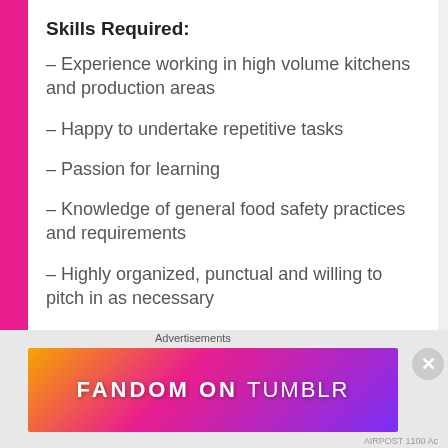Skills Required:
– Experience working in high volume kitchens and production areas
– Happy to undertake repetitive tasks
– Passion for learning
– Knowledge of general food safety practices and requirements
– Highly organized, punctual and willing to pitch in as necessary
– Good people skills with the ability to manage
[Figure (other): Advertisements banner: FANDOM ON tumblr promotional advertisement with colorful gradient background (orange to pink to purple) with illustrated doodles]